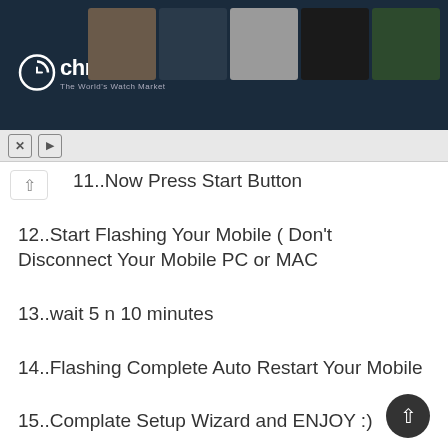[Figure (screenshot): Chrono24 advertisement banner showing watch marketplace with logo and watch thumbnail images]
11..Now Press Start Button
12..Start Flashing Your Mobile ( Don't Disconnect Your Mobile PC or MAC
13..wait 5 n 10 minutes
14..Flashing Complete Auto Restart Your Mobile
15..Complate Setup Wizard and ENJOY :)